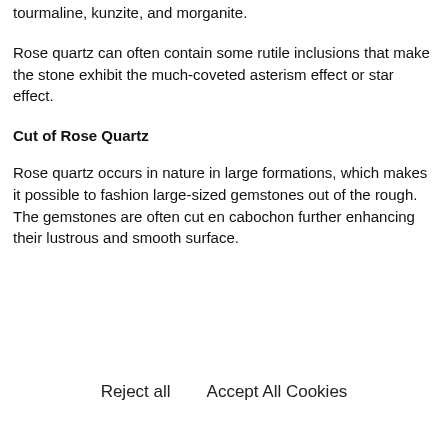tourmaline, kunzite, and morganite.
Rose quartz can often contain some rutile inclusions that make the stone exhibit the much-coveted asterism effect or star effect.
Cut of Rose Quartz
Rose quartz occurs in nature in large formations, which makes it possible to fashion large-sized gemstones out of the rough. The gemstones are often cut en cabochon further enhancing their lustrous and smooth surface.
Reject all
Accept All Cookies